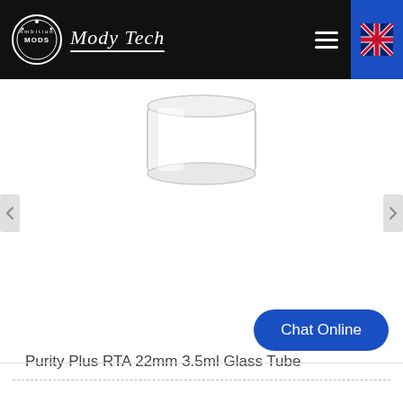Mody Tech
[Figure (photo): Glass tube product photo — a clear cylindrical glass tube for Purity Plus RTA 22mm, shown against white background with navigation arrows on left and right]
Purity Plus RTA 22mm 3.5ml Glass Tube
Chat Online